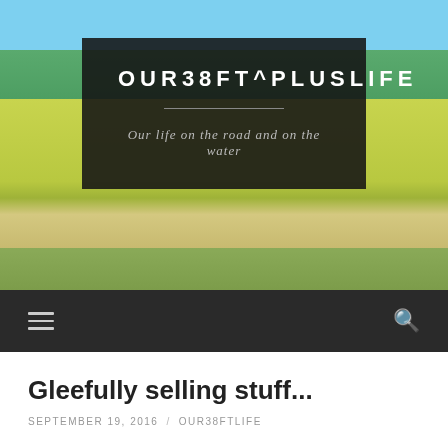[Figure (photo): Landscape photo of coastal hillside with yellow wildflowers, green shrubs, a dirt path, and blue sky/ocean in the background]
OUR38FT^PLUSLIFE
Our life on the road and on the water
Navigation bar with hamburger menu and search icon
Gleefully selling stuff...
SEPTEMBER 19, 2016 / OUR38FTLIFE